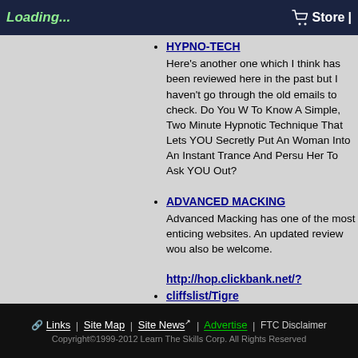Loading... Store
HYPNO-TECH
Here's another one which I think has been reviewed here in the past but I haven't gone through the old emails to check. Do You Want To Know A Simple, Two Minute Hypnotic Technique That Lets YOU Secretly Put Any Woman Into An Instant Trance And Persuade Her To Ask YOU Out?
ADVANCED MACKING
Advanced Macking has one of the most enticing websites. An updated review would also be welcome.
http://hop.clickbank.net/?cliffslist/Tigre
This one also looked pretty interesting. Information on breakups and loving-styles
http://hop.clickbank.net/?cliffslist/prodeskcom
Success Secrets Our free newsletter reveals all Money and Personal Finance secrets; Business & Marketing secrets; Health, Fitness and Weight-Loss advice; Self Defense secrets; Memory Improvement tips; Smart Advice on Flirting, Dating, Sex, and Relationships; Personal Development tips Communication and Negotiation tips; Tou
Links | Site Map | Site News | Advertise | FTC Disclaimer
Copyright©1999-2012 Learn The Skills Corp. All Rights Reserved